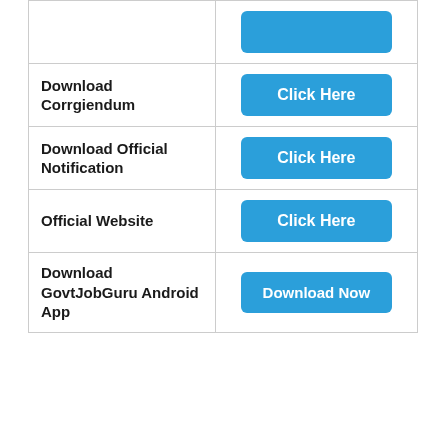| Action | Link |
| --- | --- |
| Download Corrgiendum | Click Here |
| Download Official Notification | Click Here |
| Official Website | Click Here |
| Download GovtJobGuru Android App | Download Now |